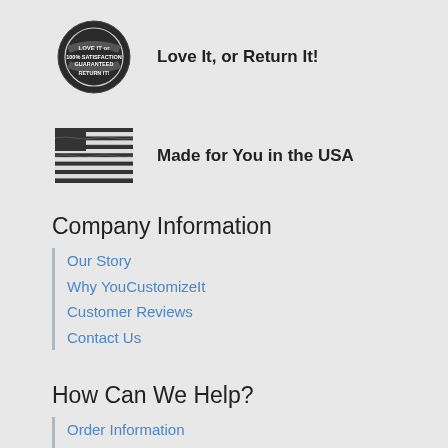[Figure (logo): Circular stamp/badge with text 'LOVE IT or SATISFACTION GUARANTEED RETURN IT!' in dark grey]
Love It, or Return It!
[Figure (illustration): Black and white American flag illustration]
Made for You in the USA
Company Information
Our Story
Why YouCustomizeIt
Customer Reviews
Contact Us
How Can We Help?
Order Information
Shipping Information
Guaranteed Returns